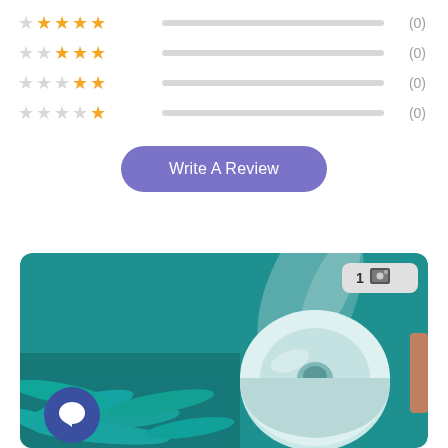[Figure (infographic): Star rating rows: 4-star row with orange stars and grey bar showing (0); 3-star row with orange stars and grey bar showing (0); 2-star row with orange stars and grey bar showing (0); 1-star row with orange stars and grey bar showing (0)]
[Figure (other): Write A Review button with purple/lavender background and white text]
[Figure (photo): Photo of a round white/light blue candle or product in a teal/green box with shredded paper packing material. Image badge showing '1' with photo icon in top right corner. Dark blue chat button in bottom left corner.]